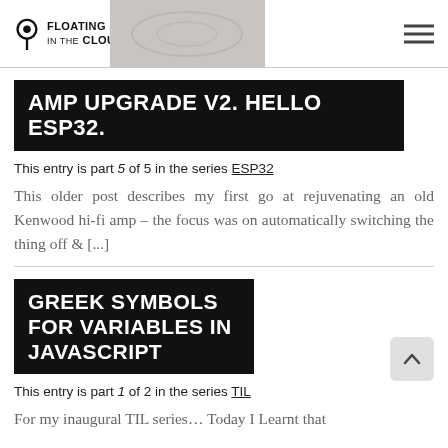FLOATING IN THE CLOUDS
AMP UPGRADE V2. HELLO ESP32.
This entry is part 5 of 5 in the series ESP32
This older post describes my first go at rejuvenating an old Kenwood hi-fi amp – the focus was on automatically switching the thing off & [...]
GREEK SYMBOLS FOR VARIABLES IN JAVASCRIPT
This entry is part 1 of 2 in the series TIL
For my inaugural TIL series… Today I Learnt that